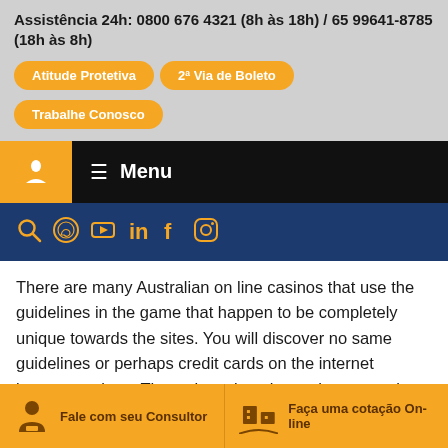Assistência 24h: 0800 676 4321 (8h às 18h) / 65 99641-8785 (18h às 8h)
Atitude Protetiva
2ª Via de Boleto
Trabalhe Conosco
[Figure (logo): Company logo icon in orange box, menu bar with hamburger icon and Menu text]
[Figure (infographic): Social media icons row: search, WhatsApp, YouTube, LinkedIn, Facebook, Instagram — all in orange on navy background]
There are many Australian on line casinos that use the guidelines in the game that happen to be completely unique towards the sites. You will discover no same guidelines or perhaps credit cards on the internet internet casinos. The web casino players happen to be assured of successful, whilstits particular online games as they are able to be hist...
Fale com seu Consultor
Faça uma cotação On-line